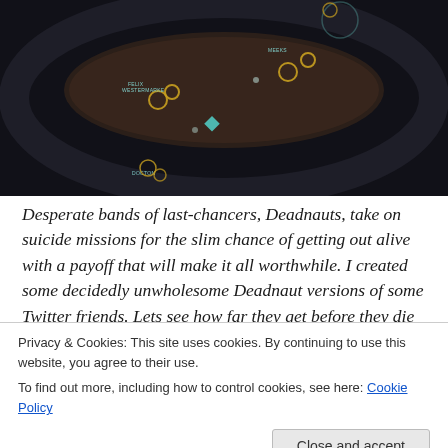[Figure (screenshot): Screenshot of a dark sci-fi game interface showing a top-down view with character labels including 'FELIX WESTERMARKE' and 'MEEKS', with yellow circle markers and a teal diamond marker on a dark tactical map overlay.]
Desperate bands of last-chancers, Deadnauts, take on suicide missions for the slim chance of getting out alive with a payoff that will make it all worthwhile. I created some decidedly unwholesome Deadnaut versions of some Twitter friends. Lets see how far they get before they die
Privacy & Cookies: This site uses cookies. By continuing to use this website, you agree to their use.
To find out more, including how to control cookies, see here: Cookie Policy
Close and accept
15th December, 2014    Leave a Reply